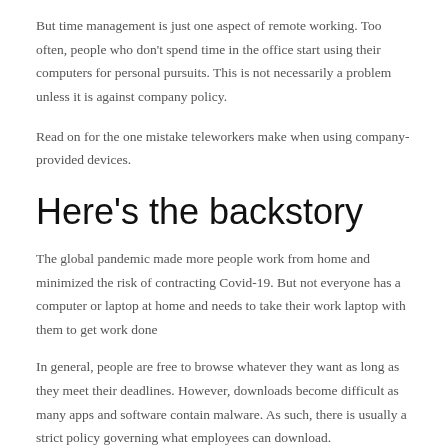But time management is just one aspect of remote working. Too often, people who don't spend time in the office start using their computers for personal pursuits. This is not necessarily a problem unless it is against company policy.
Read on for the one mistake teleworkers make when using company-provided devices.
Here's the backstory
The global pandemic made more people work from home and minimized the risk of contracting Covid-19. But not everyone has a computer or laptop at home and needs to take their work laptop with them to get work done
In general, people are free to browse whatever they want as long as they meet their deadlines. However, downloads become difficult as many apps and software contain malware. As such, there is usually a strict policy governing what employees can download.